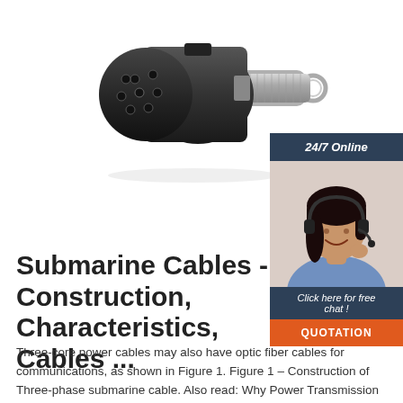[Figure (photo): A black multi-pin electrical connector with a metal barrel and ring at the end, resembling a trailer or submarine cable connector.]
[Figure (photo): Advertisement banner with a woman wearing a headset smiling, with text '24/7 Online', 'Click here for free chat!', and a QUOTATION button.]
Submarine Cables - Construction, Characteristics, Cables ...
Three-core power cables may also have optic fiber cables for communications, as shown in Figure 1. Figure 1 – Construction of Three-phase submarine cable. Also read: Why Power Transmission Cables & Lines are Loose on